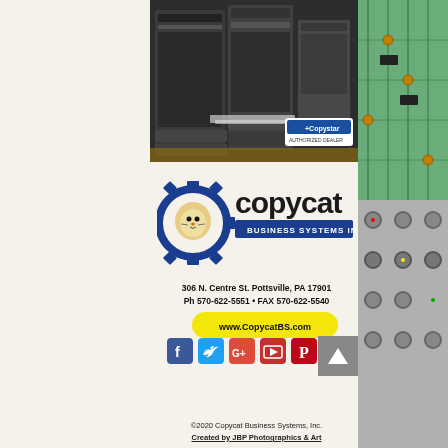[Figure (photo): Commercial printing/copier machines in a showroom, with a Copystar Authorized Dealer badge in bottom right corner]
[Figure (logo): Copycat Business Systems Inc. logo - lion head in gear wheel with company name]
306 N. Centre St. Pottsville, PA 17901
Ph 570-622-5551 • FAX 570-622-5540
www.CopycatBS.com
[Figure (infographic): Social media icons row: Facebook, Twitter, Google+, YouTube, Pinterest, Instagram]
[Figure (other): Back to top button (upward arrow on grey background)]
©2020 Copycat Business Systems, Inc.
Created by JBP Photographics & Art
[Figure (photo): Right side strip showing circuit board / electronic components in green and grey tones]